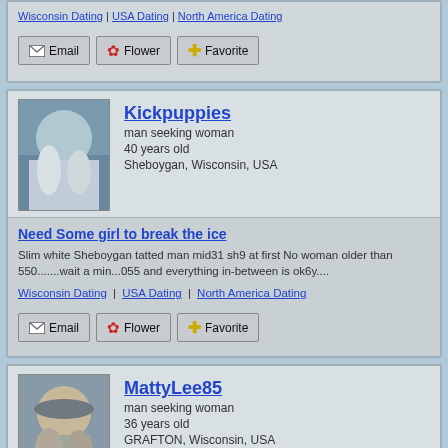Wisconsin Dating | USA Dating | North America Dating
Email  Flower  Favorite
Kickpuppies
man seeking woman
40 years old
Sheboygan, Wisconsin, USA
Need Some girl to break the ice
Slim white Sheboygan tatted man mid31 sh9 at first No woman older than 550.......wait a min...055 and everything in-between is ok6y....
Wisconsin Dating | USA Dating | North America Dating
Email  Flower  Favorite
MattyLee85
man seeking woman
36 years old
GRAFTON, Wisconsin, USA
Hey...over here!!